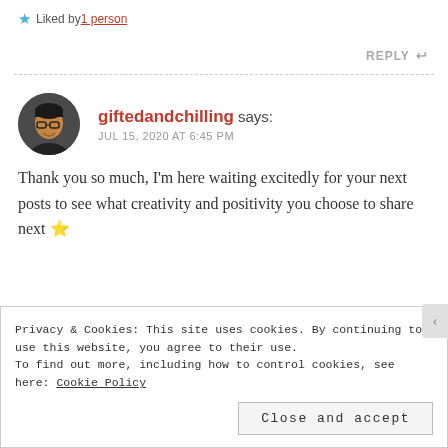★ Liked by 1 person
REPLY ↩
giftedandchilling says: JUL 15, 2020 AT 6:45 PM
Thank you so much, I'm here waiting excitedly for your next posts to see what creativity and positivity you choose to share next 🌟
Privacy & Cookies: This site uses cookies. By continuing to use this website, you agree to their use. To find out more, including how to control cookies, see here: Cookie Policy
Close and accept